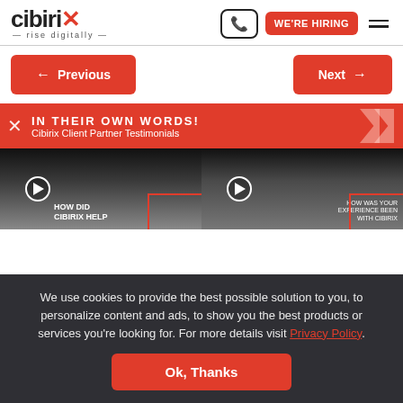cibirix rise digitally — WE'RE HIRING
← Previous   Next →
IN THEIR OWN WORDS! Cibirix Client Partner Testimonials
[Figure (screenshot): Two video thumbnails side by side showing client testimonial videos. Left video shows a man with text 'HOW DID CIBIRIX HELP'. Right video shows another man with text 'HOW WAS YOUR EXPERIENCE BEEN WITH CIBIRIX'.]
We use cookies to provide the best possible solution to you, to personalize content and ads, to show you the best products or services you're looking for. For more details visit Privacy Policy.
Ok, Thanks